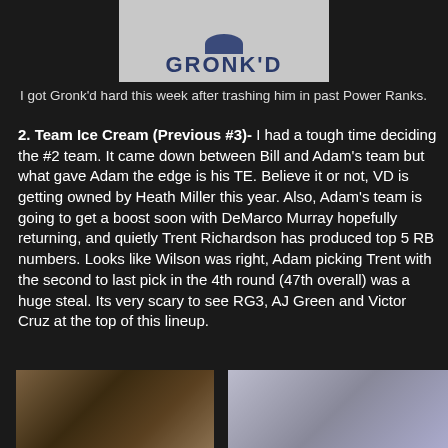[Figure (photo): A gray t-shirt or merchandise image with 'GRONK'D' text in dark blue bold letters and a circular logo above it]
I got Gronk'd hard this week after trashing him in past Power Ranks.
2. Team Ice Cream (Previous #3)- I had a tough time deciding the #2 team. It came down between Bill and Adam's team but what gave Adam the edge is his TE. Believe it or not, VD is getting owned by Heath Miller this year. Also, Adam's team is going to get a boost soon with DeMarco Murray hopefully returning, and quietly Trent Richardson has produced top 5 RB numbers. Looks like Wilson was right, Adam picking Trent with the second to last pick in the 4th round (47th overall) was a huge steal. Its very scary to see RG3, AJ Green and Victor Cruz at the top of this lineup.
[Figure (photo): Photo of a Cleveland Browns player wearing jersey #81 in orange and brown uniform]
[Figure (photo): Two-panel image: left panel shows a red fabric/jersey swatch, right panel shows what appears to be a memorabilia card or document]